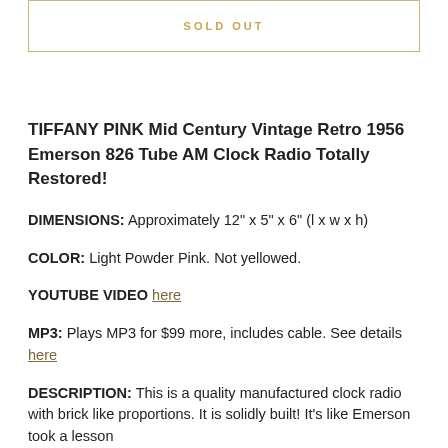SOLD OUT
TIFFANY PINK Mid Century Vintage Retro 1956 Emerson 826 Tube AM Clock Radio Totally Restored!
DIMENSIONS: Approximately 12" x 5" x 6" (l x w x h)
COLOR: Light Powder Pink. Not yellowed.
YOUTUBE VIDEO here
MP3: Plays MP3 for $99 more, includes cable. See details here
DESCRIPTION: This is a quality manufactured clock radio with brick like proportions. It is solidly built! It's like Emerson took a lesson